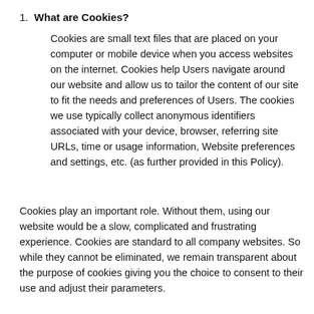1. What are Cookies? Cookies are small text files that are placed on your computer or mobile device when you access websites on the internet. Cookies help Users navigate around our website and allow us to tailor the content of our site to fit the needs and preferences of Users. The cookies we use typically collect anonymous identifiers associated with your device, browser, referring site URLs, time or usage information, Website preferences and settings, etc. (as further provided in this Policy).
Cookies play an important role. Without them, using our website would be a slow, complicated and frustrating experience. Cookies are standard to all company websites. So while they cannot be eliminated, we remain transparent about the purpose of cookies giving you the choice to consent to their use and adjust their parameters.